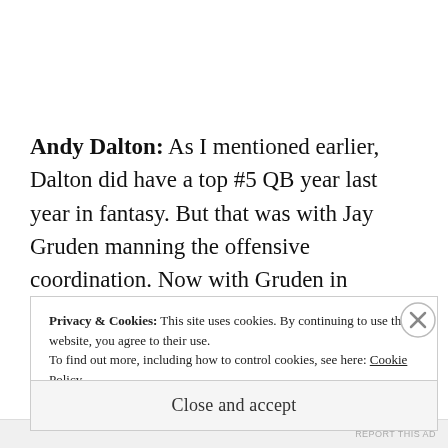Andy Dalton: As I mentioned earlier, Dalton did have a top #5 QB year last year in fantasy. But that was with Jay Gruden manning the offensive coordination. Now with Gruden in Washington, his new OC is Hue Jackson. If you don't know about Jackson, he loves to run the ball and rely on his...
Privacy & Cookies: This site uses cookies. By continuing to use this website, you agree to their use. To find out more, including how to control cookies, see here: Cookie Policy
Close and accept